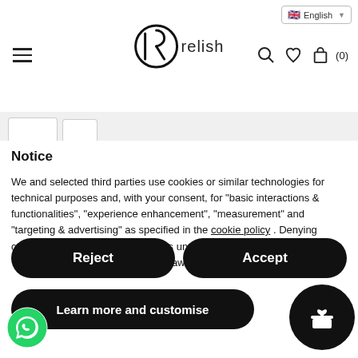English — relish — navigation header with hamburger menu, logo, search, wishlist, cart (0)
Notice
We and selected third parties use cookies or similar technologies for technical purposes and, with your consent, for "basic interactions & functionalities", "experience enhancement", "measurement" and "targeting & advertising" as specified in the cookie policy . Denying consent may make related features unavailable.
You can freely give, deny, or withdraw your consent at any time.
Reject
Accept
Learn more and customise